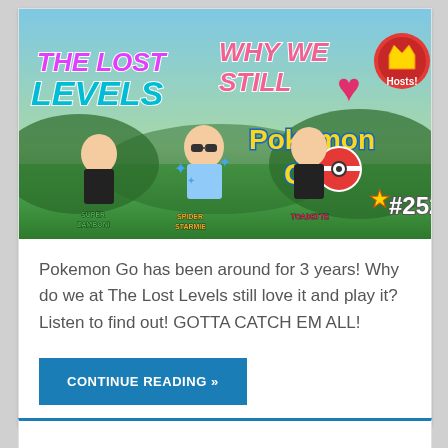[Figure (illustration): Podcast episode banner for The Lost Levels episode #252 about Why We Still Love Pokemon Go. Features cartoon Mii-style characters labeled Super Zamboni, Spider Starmie, and Toadette against a green nature background with Pokemon Go logo, a pink heart, a star, and a crown with 'Hosts!' text.]
Pokemon Go has been around for 3 years! Why do we at The Lost Levels still love it and play it? Listen to find out! GOTTA CATCH EM ALL!
CONTINUE READING »